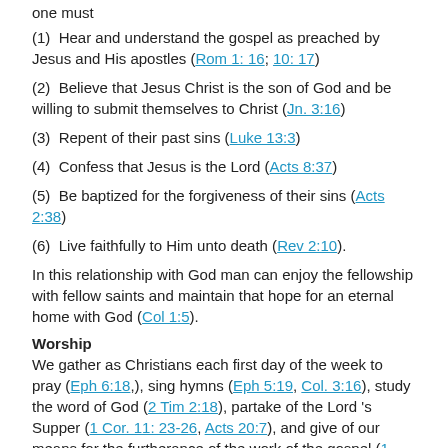one must
(1)  Hear and understand the gospel as preached by Jesus and His apostles (Rom 1: 16; 10: 17)
(2)  Believe that Jesus Christ is the son of God and be willing to submit themselves to Christ (Jn. 3:16)
(3)  Repent of their past sins (Luke 13:3)
(4)  Confess that Jesus is the Lord (Acts 8:37)
(5)  Be baptized for the forgiveness of their sins (Acts 2:38)
(6)  Live faithfully to Him unto death (Rev 2:10).
In this relationship with God man can enjoy the fellowship with fellow saints and maintain that hope for an eternal home with God (Col 1:5).
Worship
We gather as Christians each first day of the week to pray (Eph 6:18,), sing hymns (Eph 5:19, Col. 3:16), study the word of God (2 Tim 2:18), partake of the Lord 's Supper (1 Cor. 11: 23-26, Acts 20:7), and give of our means for the furtherance of the work of the gospel (1 Cor. 16:1-2). Our gatherings are times to worship our mighty and